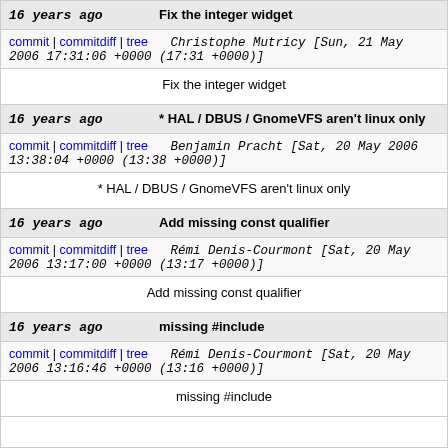16 years ago | Fix the integer widget
commit | commitdiff | tree   Christophe Mutricy [Sun, 21 May 2006 17:31:06 +0000 (17:31 +0000)]
Fix the integer widget
16 years ago | * HAL / DBUS / GnomeVFS aren't linux only
commit | commitdiff | tree   Benjamin Pracht [Sat, 20 May 2006 13:38:04 +0000 (13:38 +0000)]
* HAL / DBUS / GnomeVFS aren't linux only
16 years ago | Add missing const qualifier
commit | commitdiff | tree   Rémi Denis-Courmont [Sat, 20 May 2006 13:17:00 +0000 (13:17 +0000)]
Add missing const qualifier
16 years ago | missing #include
commit | commitdiff | tree   Rémi Denis-Courmont [Sat, 20 May 2006 13:16:46 +0000 (13:16 +0000)]
missing #include